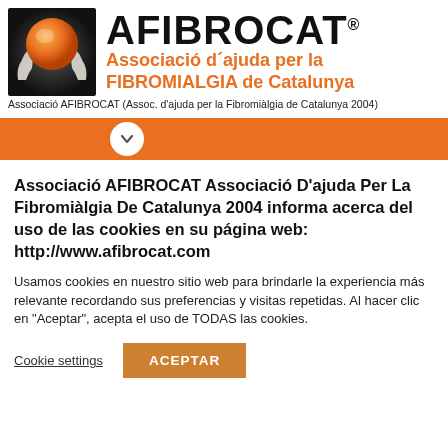[Figure (logo): AFIBROCAT logo: hands holding an orange sphere on dark background, with AFIBROCAT brand name and subtitle 'Associació d'ajuda per la FIBROMIALGIA de Catalunya']
Associació AFIBROCAT (Assoc. d'ajuda per la Fibromiàlgia de Catalunya 2004)
[Figure (other): Orange navigation bar with white circle chevron/dropdown icon]
Associació AFIBROCAT Associació D'ajuda Per La Fibromiàlgia De Catalunya 2004 informa acerca del uso de las cookies en su página web: http://www.afibrocat.com
Usamos cookies en nuestro sitio web para brindarle la experiencia más relevante recordando sus preferencias y visitas repetidas. Al hacer clic en "Aceptar", acepta el uso de TODAS las cookies.
Cookie settings
ACEPTAR